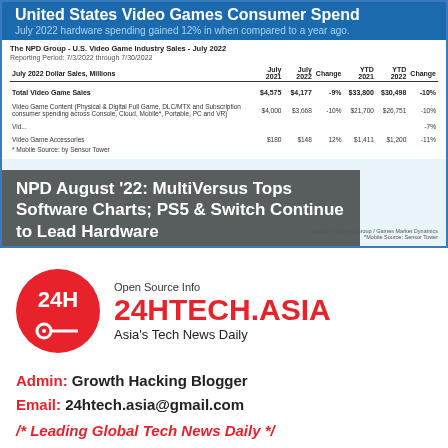[Figure (screenshot): United States Video Games Consumer Spend - NPD Group U.S. Video Game Industry Sales July 2022 data table showing Total Video Game Sales, Video Game Content, Video Game Hardware, and Video Game Accessories with July 2021, July 2022, Change and YTD 2021, YTD 2022, Change columns]
NPD August '22: MultiVersus Tops Software Charts; PS5 & Switch Continue to Lead Hardware
[Figure (logo): 24HTECH.ASIA logo - red circle with 24H text, Open Source Info tagline, Asia's Tech News Daily]
Admin: Growth Hacking Blogger
Email: 24htech.asia@gmail.com
/* Leading Global Tech News Daily */